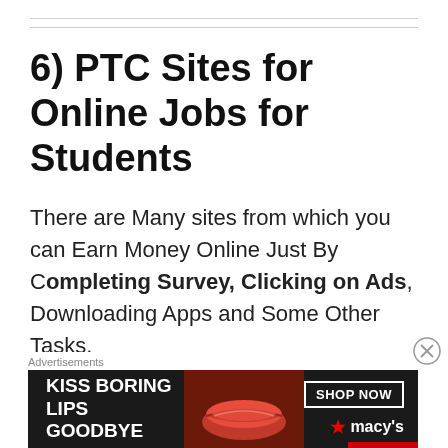6) PTC Sites for Online Jobs for Students
There are Many sites from which you can Earn Money Online Just By Completing Survey, Clicking on Ads, Downloading Apps and Some Other Tasks.
6.1 Grab Points : Earn Money
[Figure (infographic): Advertisement banner for Macy's lip products. Dark background with text 'KISS BORING LIPS GOODBYE' on left, woman's face with red lips in center, 'SHOP NOW' button and Macy's star logo on right.]
Advertisements